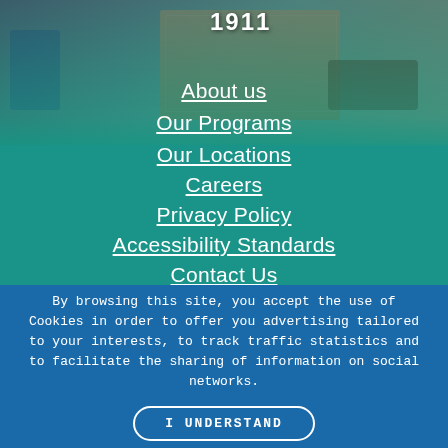[Figure (photo): Classroom/childcare room with shelving units, small tables and chairs, cubby storage, and educational materials visible. Partially overlaid with teal/dark overlay. Year '1911' visible at top.]
About us
Our Programs
Our Locations
Careers
Privacy Policy
Accessibility Standards
Contact Us
By browsing this site, you accept the use of Cookies in order to offer you advertising tailored to your interests, to track traffic statistics and to facilitate the sharing of information on social networks.
I UNDERSTAND